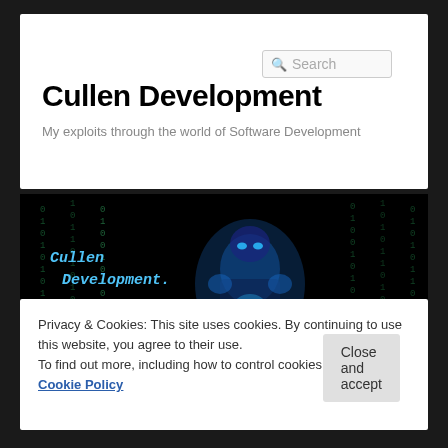Search
Cullen Development
My exploits through the world of Software Development
[Figure (screenshot): Dark hero image with matrix-style binary code background and a glowing blue robotic/armored figure, with text overlay reading 'Cullen Development.' in blue italic monospace font]
Privacy & Cookies: This site uses cookies. By continuing to use this website, you agree to their use.
To find out more, including how to control cookies, see here: Cookie Policy
Close and accept